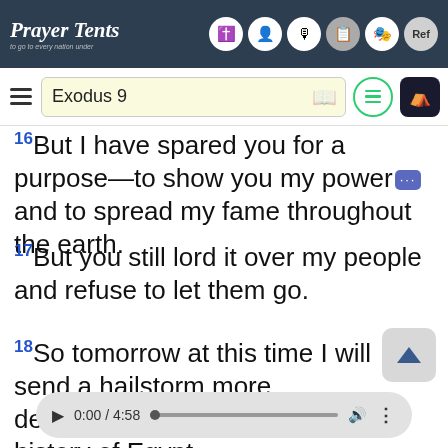Prayer Tents
Exodus 9
16But I have spared you for a purpose—to show you my power and to spread my fame throughout the earth.
17But you still lord it over my people and refuse to let them go.
18So tomorrow at this time I will send a hailstorm more devastating than any in all the history of Egypt.
0:00 / 4:58